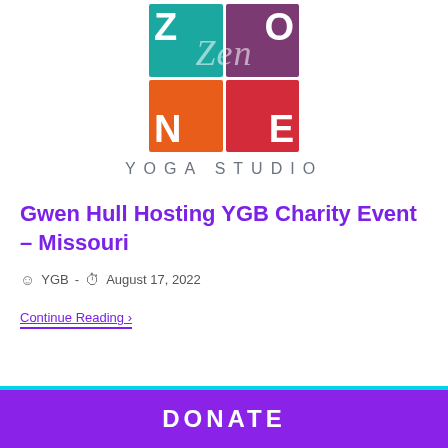[Figure (logo): Zone Zen Yoga Studio logo — a 2×2 grid of colored squares (teal, purple, orange, red) with letters Z, O, N, E and 'Zen' script overlay, with 'YOGA STUDIO' text below]
Gwen Hull Hosting YGB Charity Event – Missouri
YGB - August 17, 2022
Continue Reading ›